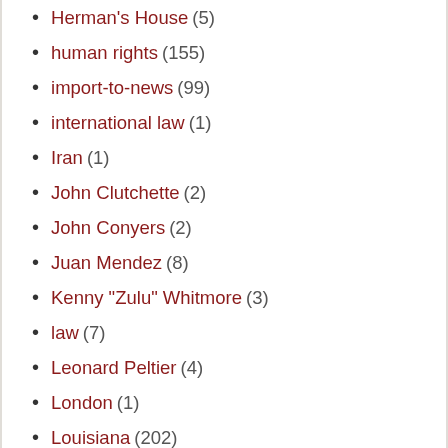Herman's House (5)
human rights (155)
import-to-news (99)
international law (1)
Iran (1)
John Clutchette (2)
John Conyers (2)
Juan Mendez (8)
Kenny "Zulu" Whitmore (3)
law (7)
Leonard Peltier (4)
London (1)
Louisiana (202)
Louisiana State Court (6)
Malik Rahim (3)
Meja (4)
Michael Mable (6)
Michelle Alexander (2)
Montreal (7)
Morris Abu-Jamal (4)